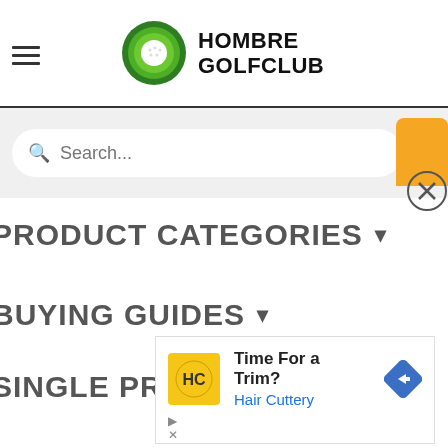[Figure (logo): Hombre Golfclub logo with green circle icon and bold text HOMBRE GOLFCLUB]
[Figure (screenshot): Search input field with rounded corners on grey background, with orange button and close circle on right edge]
PRODUCT CATEGORIES ▾
BUYING GUIDES ▾
SINGLE PRODUCTS ▾
[Figure (infographic): Advertisement for Hair Cuttery: yellow square logo with HC monogram, text Time For a Trim? Hair Cuttery, blue diamond arrow icon on right. Below: play and close ad icons.]